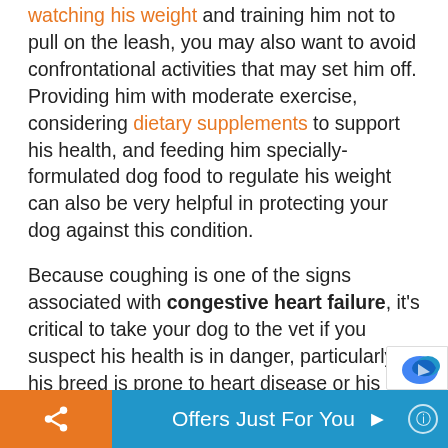watching his weight and training him not to pull on the leash, you may also want to avoid confrontational activities that may set him off. Providing him with moderate exercise, considering dietary supplements to support his health, and feeding him specially-formulated dog food to regulate his weight can also be very helpful in protecting your dog against this condition.
Because coughing is one of the signs associated with congestive heart failure, it's critical to take your dog to the vet if you suspect his health is in danger, particularly if his breed is prone to heart disease or his cough is accompanied by labored or rapid breathing/panting, bloody discharge, or he collapses. In instances where your dog's condition is severe, your vet may recommend seeing a veterinary cardiolo…
Offers Just For You ▶